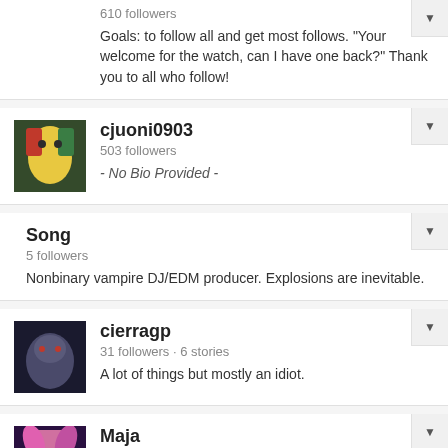610 followers
Goals: to follow all and get most follows. "Your welcome for the watch, can I have one back?" Thank you to all who follow!
cjuoni0903
503 followers
- No Bio Provided -
Song
5 followers
Nonbinary vampire DJ/EDM producer. Explosions are inevitable.
cierragp
31 followers · 6 stories
A lot of things but mostly an idiot.
Maja
8 followers